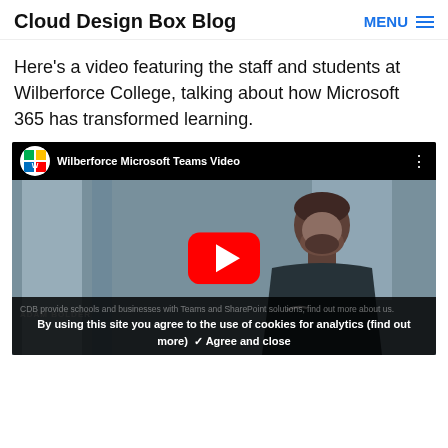Cloud Design Box Blog | MENU
Here's a video featuring the staff and students at Wilberforce College, talking about how Microsoft 365 has transformed learning.
[Figure (screenshot): YouTube video thumbnail showing a man in a dark Nike zip-up, with the title 'Wilberforce Microsoft Teams Video' and a YouTube play button overlay. Bottom shows name bar 'ADAM BOLDER' and cookie consent bar text.]